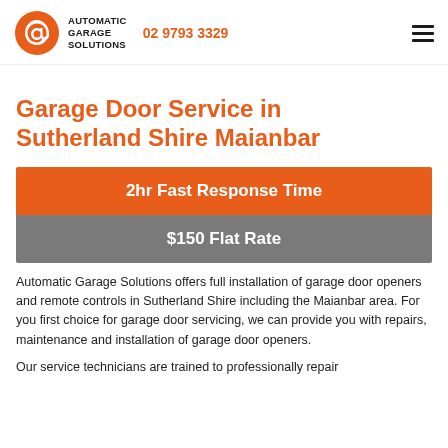Automatic Garage Solutions | 02 9793 3329
Garage Door Service in Sutherland Shire Maianbar
2hr Fast Response Time
$150 Flat Rate
Automatic Garage Solutions offers full installation of garage door openers and remote controls in Sutherland Shire including the Maianbar area. For you first choice for garage door servicing, we can provide you with repairs, maintenance and installation of garage door openers.
Our service technicians are trained to professionally repair